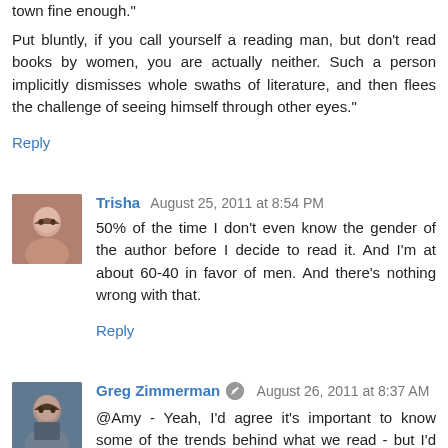town fine enough."
Put bluntly, if you call yourself a reading man, but don't read books by women, you are actually neither. Such a person implicitly dismisses whole swaths of literature, and then flees the challenge of seeing himself through other eyes."
Reply
Trisha  August 25, 2011 at 8:54 PM
50% of the time I don't even know the gender of the author before I decide to read it. And I'm at about 60-40 in favor of men. And there's nothing wrong with that.
Reply
Greg Zimmerman  August 26, 2011 at 8:37 AM
@Amy - Yeah, I'd agree it's important to know some of the trends behind what we read - but I'd say that's only important for the sake of knowing trends. Especially when it